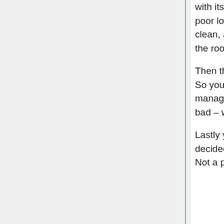with its “champagne” coloured fittings. The basin is bearable (if in in a poor location), but the glaze on the toilet is poor and difficult to keep clean, and the bath too shallow, too short, and no-one likes it. In short, the room has lost its shine in more ways than one!
Then there is the floor – cork tiles, that someone later varnished over. So you have a floor which is shiny and slippery when wet, and always manages to feel sticky under foot when dry, while generally looking bad – what’s not to like?
Lastly you have the decor – whoever built the rooms originally decided to skimp on that, and used “tiling on a roll” for both rooms. Not a particularly convincing finish even when new when it